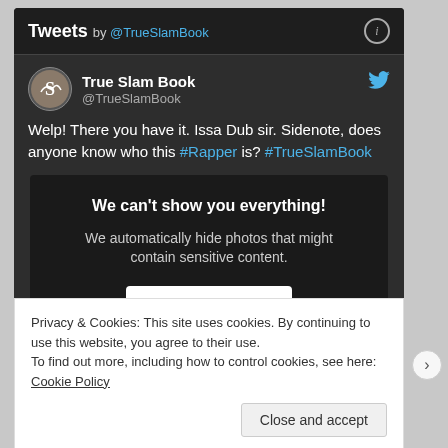Tweets by @TrueSlamBook
True Slam Book @TrueSlamBook
Welp! There you have it. Issa Dub sir. Sidenote, does anyone know who this #Rapper is? #TrueSlamBook
[Figure (screenshot): Sensitive content warning box: 'We can't show you everything! We automatically hide photos that might contain sensitive content.' with 'Show Media' button]
Privacy & Cookies: This site uses cookies. By continuing to use this website, you agree to their use.
To find out more, including how to control cookies, see here: Cookie Policy
Close and accept